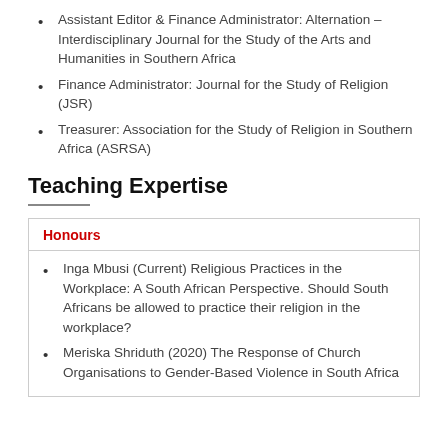Assistant Editor & Finance Administrator: Alternation – Interdisciplinary Journal for the Study of the Arts and Humanities in Southern Africa
Finance Administrator: Journal for the Study of Religion (JSR)
Treasurer: Association for the Study of Religion in Southern Africa (ASRSA)
Teaching Expertise
| Honours |
| --- |
| Inga Mbusi (Current) Religious Practices in the Workplace: A South African Perspective. Should South Africans be allowed to practice their religion in the workplace? |
| Meriska Shriduth (2020) The Response of Church Organisations to Gender-Based Violence in South Africa |